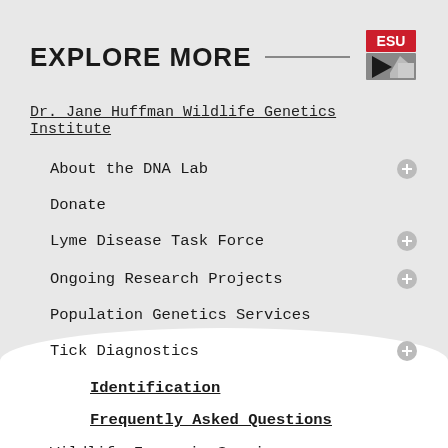EXPLORE MORE
Dr. Jane Huffman Wildlife Genetics Institute
About the DNA Lab
Donate
Lyme Disease Task Force
Ongoing Research Projects
Population Genetics Services
Tick Diagnostics
Identification
Frequently Asked Questions
Wildlife Forensic Services